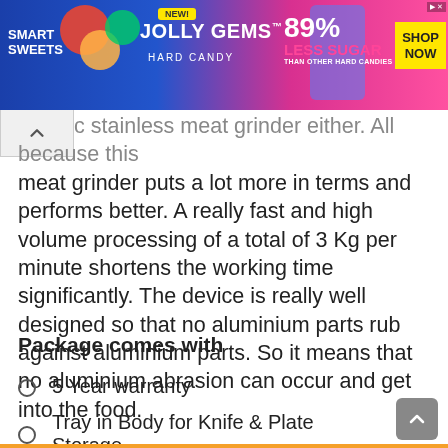[Figure (other): Smart Sweets Jolly Gems Hard Candy advertisement banner showing 89% less sugar than other hard candies with Shop Now button]
c stainless meat grinder either. All because this meat grinder puts a lot more in terms and performs better. A really fast and high volume processing of a total of 3 Kg per minute shortens the working time significantly. The device is really well designed so that no aluminium parts rub against aluminium parts. So it means that no aluminium abrasion can occur and get into the food.
Package comes with
5 Year warranty
Tray in Body for Knife & Plate Storage